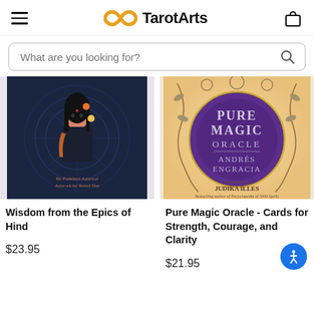TarotArts
What are you looking for?
[Figure (photo): Book cover: Wisdom from the Epics of Hind, illustrated with an Indian woman in traditional attire on a dark blue background. By Pankhuri Agarwal, Artwork by Rahul Das.]
Wisdom from the Epics of Hind
$23.95
[Figure (photo): Book cover: Pure Magic Oracle - Cards for Strength, Courage, and Clarity by Andrés Engracia. Purple circular design on peach/gold background with botanical illustrations. Foreword by Judika Illes, Bestselling author of Encyclopedia of 5000 Spells.]
Pure Magic Oracle - Cards for Strength, Courage, and Clarity
$21.95